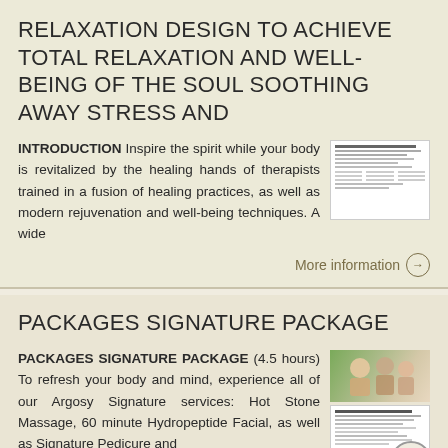RELAXATION DESIGN TO ACHIEVE TOTAL RELAXATION AND WELL-BEING OF THE SOUL SOOTHING AWAY STRESS AND
INTRODUCTION Inspire the spirit while your body is revitalized by the healing hands of therapists trained in a fusion of healing practices, as well as modern rejuvenation and well-being techniques. A wide
[Figure (other): Thumbnail showing a document page with text lines]
More information →
PACKAGES SIGNATURE PACKAGE
PACKAGES SIGNATURE PACKAGE (4.5 hours) To refresh your body and mind, experience all of our Argosy Signature services: Hot Stone Massage, 60 minute Hydropeptide Facial, as well as Signature Pedicure and
[Figure (other): Thumbnail showing people and a document page]
More information →